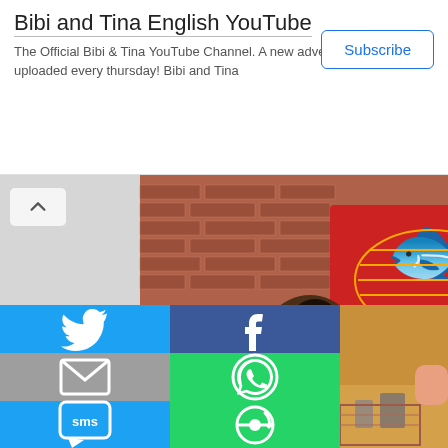Bibi and Tina English YouTube
The Official Bibi & Tina YouTube Channel. A new adventure will be uploaded every thursday! Bibi and Tina
Subscribe
[Figure (screenshot): Video thumbnail showing an indoor scene with a woman with curly hair, a brick wall with a red and yellow fish painting, and a room with lamps and a sideboard in the background]
[Figure (infographic): Social share button grid: Twitter (blue), Facebook (dark blue), Email (grey), WhatsApp (green), SMS (blue), Other/share (green)]